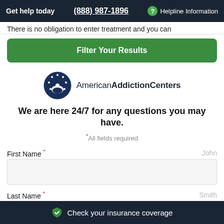Get help today  (888) 987-1896  ? Helpline Information
There is no obligation to enter treatment and you can
Filter Your Results
[Figure (logo): American Addiction Centers logo: dark navy circle with stars and crescent/person shape, text 'AmericanAddictionCenters']
We are here 24/7 for any questions you may have.
*All fields required
First Name *   John
Last Name *   Smith
Check your insurance coverage